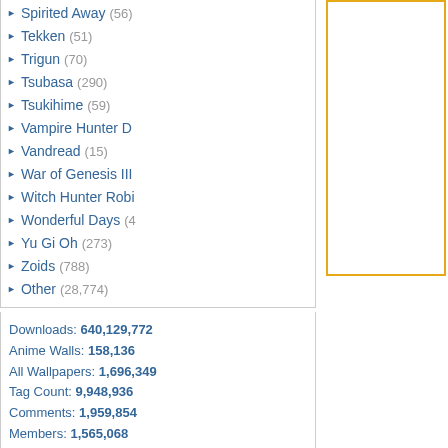Spirited Away (56)
Tekken (51)
Trigun (70)
Tsubasa (290)
Tsukihime (59)
Vampire Hunter D
Vandread (15)
War of Genesis III
Witch Hunter Robin
Wonderful Days (4
Yu Gi Oh (273)
Zoids (788)
Other (28,774)
Downloads: 640,129,772
Anime Walls: 158,136
All Wallpapers: 1,696,349
Tag Count: 9,948,936
Comments: 1,959,854
Members: 1,565,068
Votes: 12,971,712
5,924 Users Online
103 members, 5,821 guests
AlvaradoSulwen, Anderlec, artinconstruction, Astro, BestPsychic000, bmpressurewashing2, Boar, boliou, brandbajade, bridgecounseling, brighten, CarrollDentistry, cell-phone hacking, chatonfragile, Cleaners567, ColbyRichardson
[Figure (other): Yellow-bordered empty box on the right side of the page]